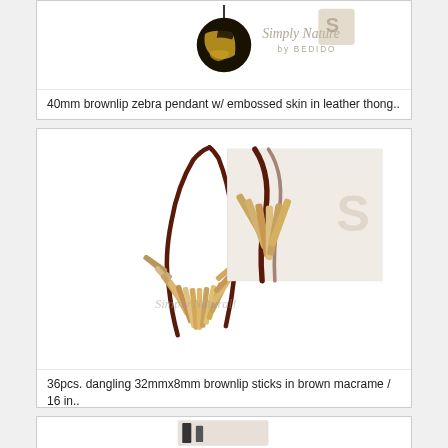[Figure (photo): 40mm brownlip zebra pendant with embossed skin on leather thong, with Simply Nature by Bedido logo]
40mm brownlip zebra pendant w/ embossed skin in leather thong..
[Figure (photo): 36pcs dangling 32mmx8mm brownlip sticks in brown macrame necklace, 16 in, with close-up inset and Simply Natural watermark]
36pcs. dangling 32mmx8mm brownlip sticks in brown macrame / 16 in..
[Figure (photo): Third product card partially visible at bottom of page]